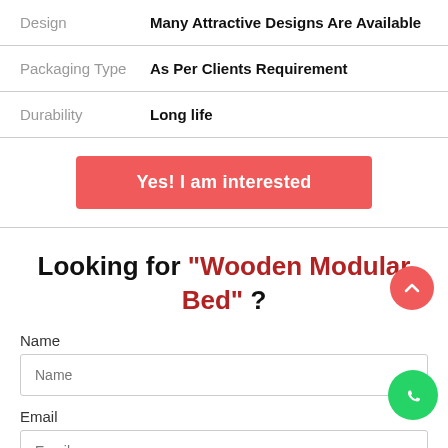| Attribute | Value |
| --- | --- |
| Design | Many Attractive Designs Are Available |
| Packaging Type | As Per Clients Requirement |
| Durability | Long life |
Yes! I am interested
Looking for "Wooden Modular Bed" ?
Name
Email